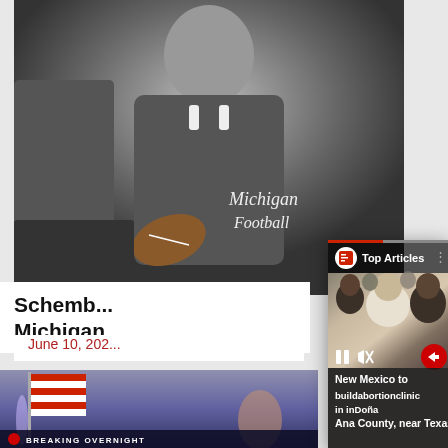[Figure (photo): Black and white photo of a man wearing a Michigan Football jacket, holding a football]
Schemb...
Michigan
June 10, 202...
[Figure (photo): Photo of American flag at dusk with Breaking Overnight lower-third banner]
[Figure (screenshot): Top Articles video overlay card showing women at a table with controls (pause, mute, arrow). Caption reads: New Mexico to build abortion clinic in in Doña Ana County, near Texas]